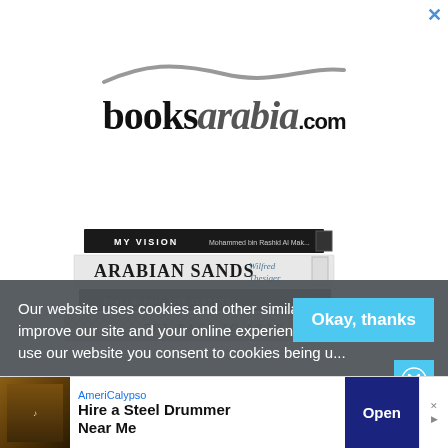[Figure (logo): booksarabia.com logo with stylized wave above and books stacked below]
Our website uses cookies and other similar technologies to improve our site and your online experience. By continuing to use our website you consent to cookies being u...
Okay, thanks
[Figure (infographic): AmeriCalypso advertisement - Hire a Steel Drummer Near Me with Open button]